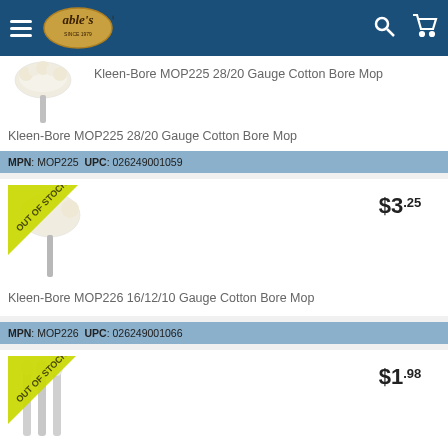Able's — navigation bar with logo, search, and cart
Kleen-Bore MOP225 28/20 Gauge Cotton Bore Mop
MPN: MOP225  UPC: 026249001059
$3.25
Kleen-Bore MOP226 16/12/10 Gauge Cotton Bore Mop
MPN: MOP226  UPC: 026249001066
$1.98
Outers 10/12/16 GA Wool Mop